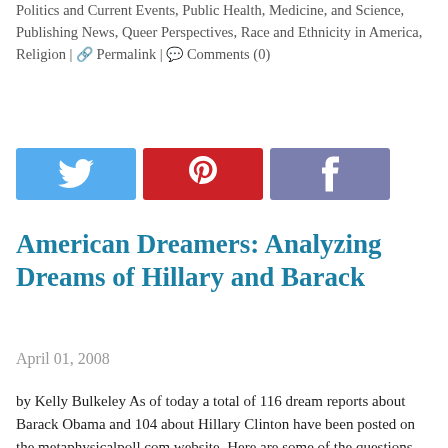Politics and Current Events, Public Health, Medicine, and Science, Publishing News, Queer Perspectives, Race and Ethnicity in America, Religion | 🔗 Permalink | 💬 Comments (0)
[Figure (other): Three social media share buttons: Twitter (blue), Pinterest (red), Facebook (purple/grey)]
American Dreamers: Analyzing Dreams of Hillary and Barack
April 01, 2008
by Kelly Bulkeley As of today a total of 116 dream reports about Barack Obama and 104 about Hillary Clinton have been posted on the metaphysicalpoll.com website. Here are some of the questions I've heard people asking about